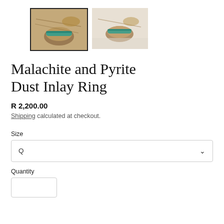[Figure (photo): Two thumbnail images of a Malachite and Pyrite Dust Inlay Ring displayed on a driftwood piece. The first thumbnail has a black selection border; the second has no border.]
Malachite and Pyrite Dust Inlay Ring
R 2,200.00
Shipping calculated at checkout.
Size
Q
Quantity